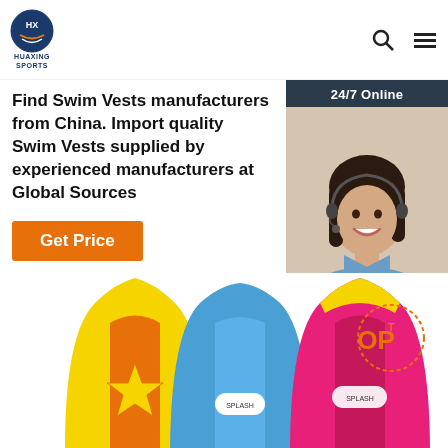HUAXING SPORTS
Find Swim Vests manufacturers from China. Import quality Swim Vests supplied by experienced manufacturers at Global Sources
Get Price
[Figure (photo): Customer service woman with headset smiling, with 24/7 Online bar and Click here for free chat text, and QUOTATION button]
[Figure (photo): Colorful children swim vests in yellow, blue, orange and pink colors displayed together with TOP badge]